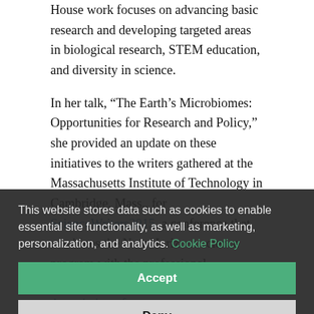House work focuses on advancing basic research and developing targeted areas in biological research, STEM education, and diversity in science.
In her talk, “The Earth’s Microbiomes: Opportunities for Research and Policy,” she provided an update on these initiatives to the writers gathered at the Massachusetts Institute of Technology in Cambridge, Mass., for ScienceWriters2015, a conference that combines the New Horizons science program with the professional development workshops of the National Association of Science Writers.
Handelsiman was appointed to her current role by President Obama and confirmed by the Senate in June 2014. Reporting to OSTP Director John P. Holdren, she helps advise the President on science policy and Federal programs.
This website stores data such as cookies to enable essential site functionality, as well as marketing, personalization, and analytics. Cookie Policy